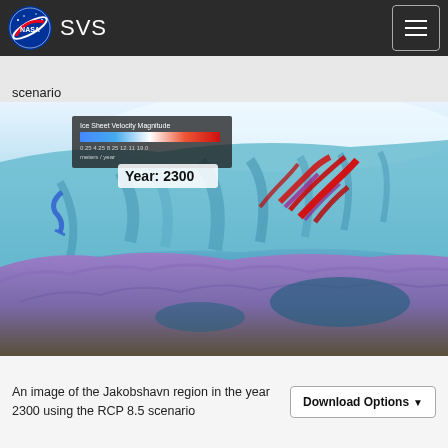NASA SVS
scenario
[Figure (photo): An aerial/satellite visualization of the Jakobshavn glacier region in Greenland showing ice sheet velocity magnitude with a color scale from blue to red, labeled 'Year: 2300' with a 50 km scale bar. The image shows glacial flow patterns overlaid on a 3D terrain view.]
An image of the Jakobshavn region in the year 2300 using the RCP 8.5 scenario